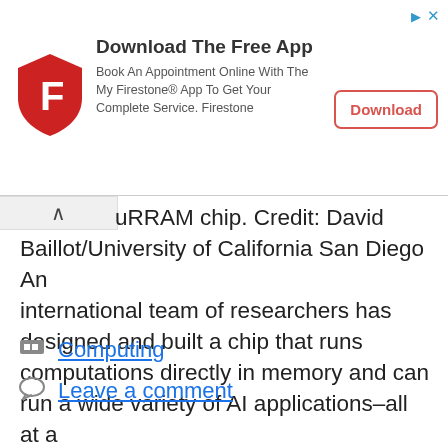[Figure (infographic): Firestone app advertisement banner with red shield logo, title 'Download The Free App', subtitle text, and a Download button]
uRRAM chip. Credit: David Baillot/University of California San Diego An international team of researchers has designed and built a chip that runs computations directly in memory and can run a wide variety of AI applications–all at a fraction of the energy consumed by computing platforms ... Read more
Computing
Leave a comment